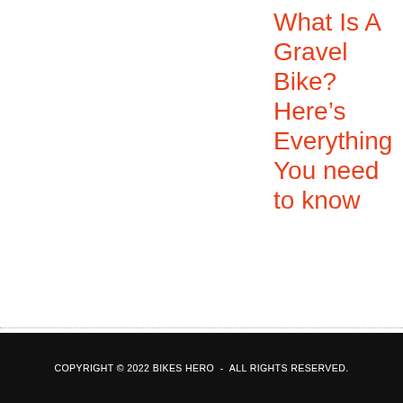What Is A Gravel Bike? Here’s Everything You need to know
COPYRIGHT © 2022 BIKES HERO - ALL RIGHTS RESERVED.